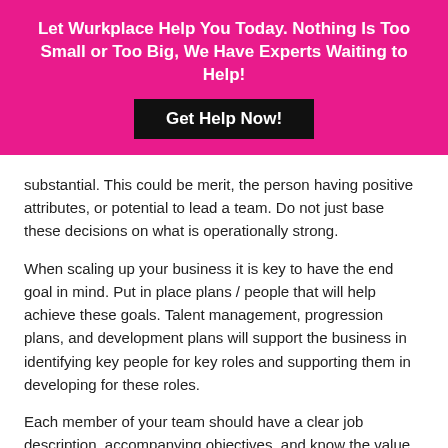Let Wurkplace Help You Today. Nothing Is Too Small or Too Big, We Have Experts Waiting to Help!
substantial. This could be merit, the person having positive attributes, or potential to lead a team. Do not just base these decisions on what is operationally strong.
When scaling up your business it is key to have the end goal in mind. Put in place plans / people that will help achieve these goals. Talent management, progression plans, and development plans will support the business in identifying key people for key roles and supporting them in developing for these roles.
Each member of your team should have a clear job description, accompanying objectives, and know the value they add and what is expected of them. Clarity and communication are key.
Recruitment